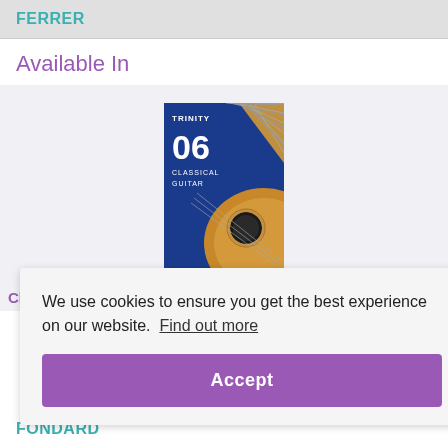FERRER
Available In
[Figure (photo): Trinity Classical Guitar Grade 6 exam pieces book cover (2020-2023), blue cover with guitar image, showing '06 Classical Guitar']
Classical Guitar Exam Pieces 2020-2023: Grade 6
We use cookies to ensure you get the best experience on our website.  Find out more
Accept
FONDARD